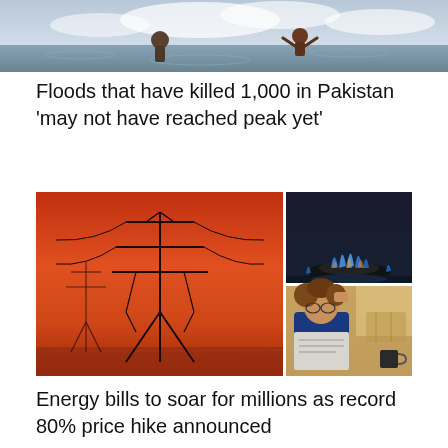[Figure (photo): People wading through floodwaters in Pakistan, partially cropped at top of page]
Floods that have killed 1,000 in Pakistan ‘may not have reached peak yet’
[Figure (photo): Composite of three images: left large image shows electricity pylon against red sunset sky; top right shows blue gas flames on a hob; bottom right shows a worried woman reading a bill in a kitchen]
Energy bills to soar for millions as record 80% price hike announced